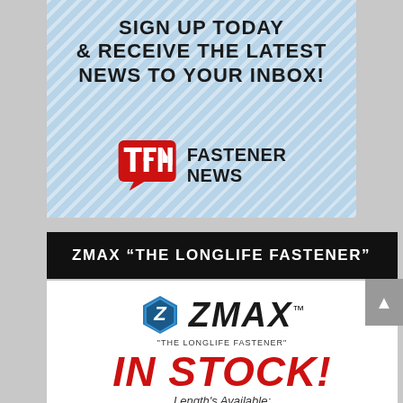[Figure (illustration): Fastener News newsletter signup advertisement with diagonal stripe blue background. Shows 'SIGN UP TODAY & RECEIVE THE LATEST NEWS TO YOUR INBOX!' text with the TFN (The Fastener News) logo — red speech bubble with TFN letters and 'FASTENER NEWS' text.]
ZMAX “THE LONGLIFE FASTENER”
[Figure (logo): ZMAX 'THE LONGLIFE FASTENER' logo with hexagonal Z icon in blue/teal, bold italic ZMAX brand name, tagline, then large red 'IN STOCK!' text, italic 'Length's Available:' subtitle, and '10 x 1"/1.5"/2"/2.5"/3"' sizes listed.]